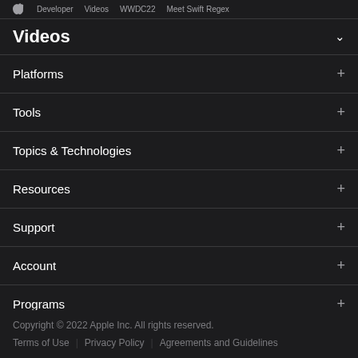Developer  Videos  WWDC22  Meet Swift Regex
Videos
Platforms
Tools
Topics & Technologies
Resources
Support
Account
Programs
Events
To view the latest developer news, visit News and Updates.
Copyright © 2022 Apple Inc. All rights reserved.  Terms of Use  |  Privacy Policy  |  Agreements and Guidelines